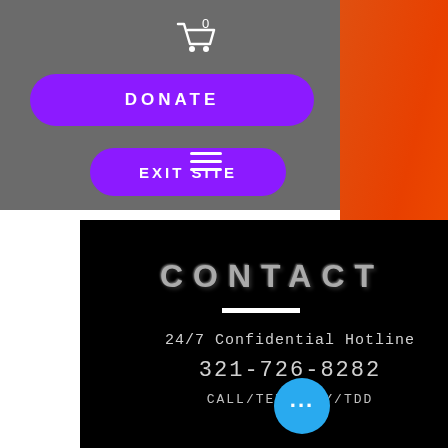[Figure (screenshot): Grey navigation bar area with cart icon, purple DONATE button, purple EXIT SITE button, and hamburger menu icon]
CONTACT
24/7 Confidential Hotline
321-726-8282
CALL/TEXT/TTY/TDD